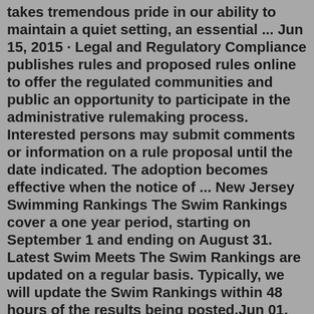takes tremendous pride in our ability to maintain a quiet setting, an essential ... Jun 15, 2015 · Legal and Regulatory Compliance publishes rules and proposed rules online to offer the regulated communities and public an opportunity to participate in the administrative rulemaking process. Interested persons may submit comments or information on a rule proposal until the date indicated. The adoption becomes effective when the notice of ... New Jersey Swimming Rankings The Swim Rankings cover a one year period, starting on September 1 and ending on August 31. Latest Swim Meets The Swim Rankings are updated on a regular basis. Typically, we will update the Swim Rankings within 48 hours of the results being posted.Jun 01, 2021 · Oxford Township 11 Green St. Oxford, New Jersey PHONE: 908.453.3098 EMAIL: townclerk@oxfordtwpnj.org NEW JERSEY SWIMMING SHORT COURSE RECORDS - JULY 2021. WOMEN. WOMEN 10 & UNDER 50 yd. Freestyle. 26.22. Darlene Fung Helen Grossman. MEY CJAC. Jan. 7, 2012 [d] ^ A team